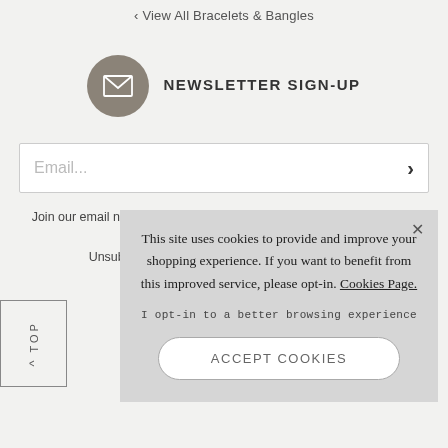‹ View All Bracelets & Bangles
NEWSLETTER SIGN-UP
Email...
Join our email newsletter to stay informed of new products, offers and competitions.
Unsubscribe at any time. View our Privacy Policy
This site uses cookies to provide and improve your shopping experience. If you want to benefit from this improved service, please opt-in. Cookies Page.
I opt-in to a better browsing experience
ACCEPT COOKIES
TOP